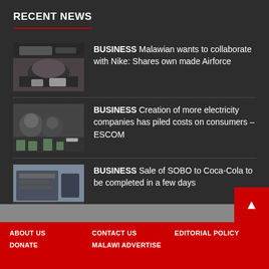RECENT NEWS
BUSINESS Malawian wants to collaborate with Nike: Shares own made Airforce
BUSINESS Creation of more electricity companies has piled costs on consumers – ESCOM
BUSINESS Sale of SOBO to Coca-Cola to be completed in a few days
ABOUT US   CONTACT US   EDITORIAL POLICY   DONATE   MALAWI ADVERTISE